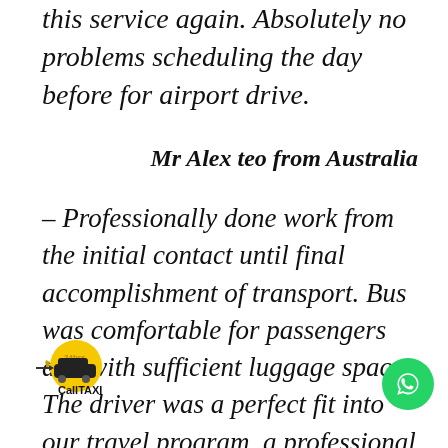this service again. Absolutely no problems scheduling the day before for airport drive.
Mr Alex teo from Australia
– Professionally done work from the initial contact until final accomplishment of transport. Bus was comfortable for passengers and with sufficient luggage space. The driver was a perfect fit into our travel program, a professional and friendly has carried out its work. We would certainly like to participate even further and we will be glad
[Figure (logo): CallTAXI logo with 24hrs label and taxi icon]
[Figure (logo): WhatsApp green circular button icon]